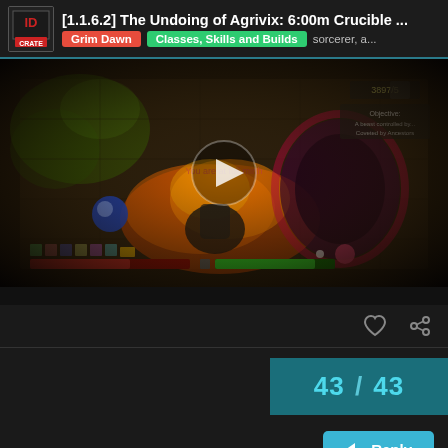[1.1.6.2] The Undoing of Agrivix: 6:00m Crucible ... | Grim Dawn | Classes, Skills and Builds | sorcerer, a...
[Figure (screenshot): Gameplay screenshot from Grim Dawn showing a dark dungeon environment with action RPG combat, fire effects, a player character, items on the ground, health/mana bars at the bottom, and a play button overlay indicating this is a video thumbnail.]
43 / 43
Reply